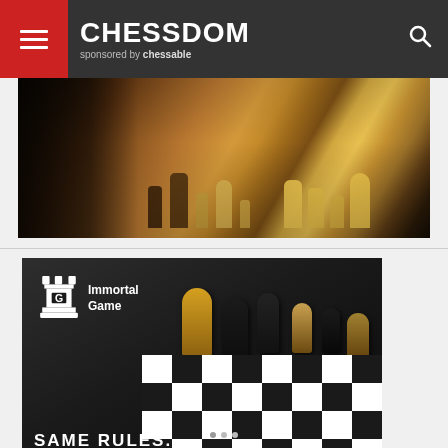CHESSDOM sponsored by chessable
[Figure (photo): Close-up photograph of wooden chess pieces on a board, dark background with players visible]
[Figure (photo): Immortal Game advertisement showing chess pieces on a black and white board with logo and text 'SAME RULES.']